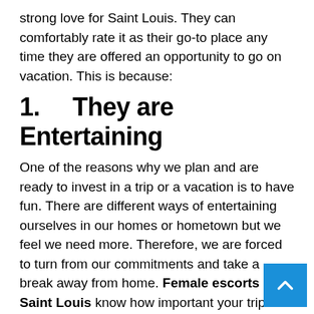strong love for Saint Louis. They can comfortably rate it as their go-to place any time they are offered an opportunity to go on vacation. This is because:
1.   They are Entertaining
One of the reasons why we plan and are ready to invest in a trip or a vacation is to have fun. There are different ways of entertaining ourselves in our homes or hometown but we feel we need more. Therefore, we are forced to turn from our commitments and take a break away from home. Female escorts in Saint Louis know how important your trip is to you. Therefore, the ensure that they give you an experience that will live in your good memories all your life.